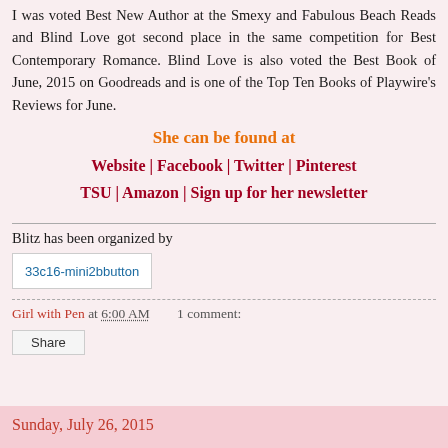I was voted Best New Author at the Smexy and Fabulous Beach Reads and Blind Love got second place in the same competition for Best Contemporary Romance. Blind Love is also voted the Best Book of June, 2015 on Goodreads and is one of the Top Ten Books of Playwire's Reviews for June.
She can be found at
Website | Facebook | Twitter | Pinterest
TSU | Amazon | Sign up for her newsletter
Blitz has been organized by
[Figure (other): 33c16-mini2bbutton image placeholder]
Girl with Pen at 6:00 AM    1 comment:
Share
Sunday, July 26, 2015